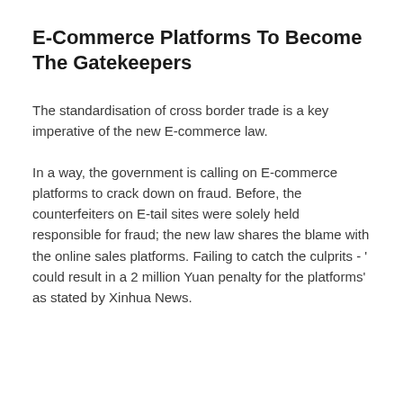E-Commerce Platforms To Become The Gatekeepers
The standardisation of cross border trade is a key imperative of the new E-commerce law.
In a way, the government is calling on E-commerce platforms to crack down on fraud. Before, the counterfeiters on E-tail sites were solely held responsible for fraud; the new law shares the blame with the online sales platforms. Failing to catch the culprits - ' could result in a 2 million Yuan penalty for the platforms' as stated by Xinhua News.